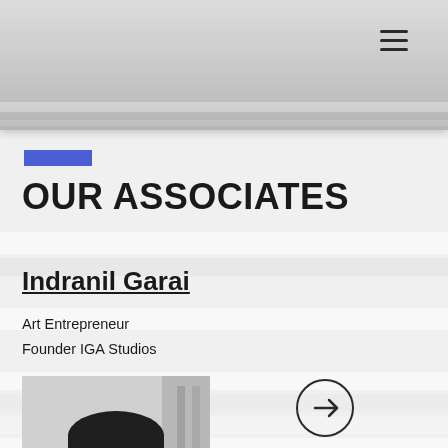OUR ASSOCIATES
Indranil Garai
Art Entrepreneur
Founder IGA Studios
[Figure (photo): Black and white portrait photo of Indranil Garai, a man smiling, with short dark hair and a goatee, wearing a dark top]
Click to see Personal Works
Click to know more on Consultation